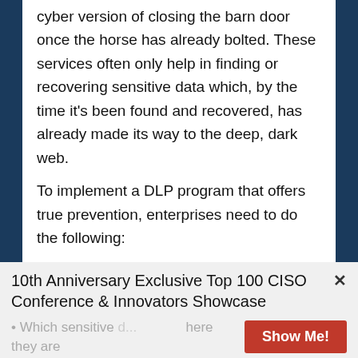cyber version of closing the barn door once the horse has already bolted. These services often only help in finding or recovering sensitive data which, by the time it's been found and recovered, has already made its way to the deep, dark web.
To implement a DLP program that offers true prevention, enterprises need to do the following:
1. Define your DLP strategy's objectives
Talk to your stakeholders and gather their input to help you define your policies and objectives, and
10th Anniversary Exclusive Top 100 CISO Conference & Innovators Showcase
Which sensitive [data] ... [where] they are
Show Me!